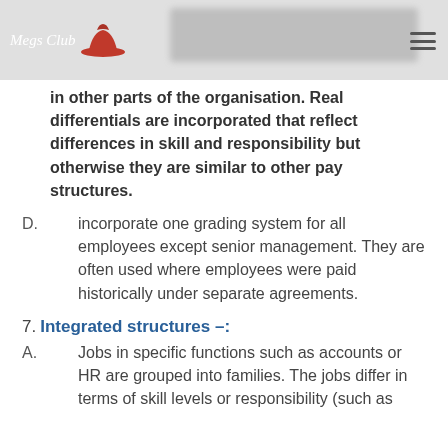Megs Club [logo with blurred header text]
in other parts of the organisation. Real differentials are incorporated that reflect differences in skill and responsibility but otherwise they are similar to other pay structures.
D. incorporate one grading system for all employees except senior management. They are often used where employees were paid historically under separate agreements.
7. Integrated structures –:
A. Jobs in specific functions such as accounts or HR are grouped into families. The jobs differ in terms of skill levels or responsibility (such as